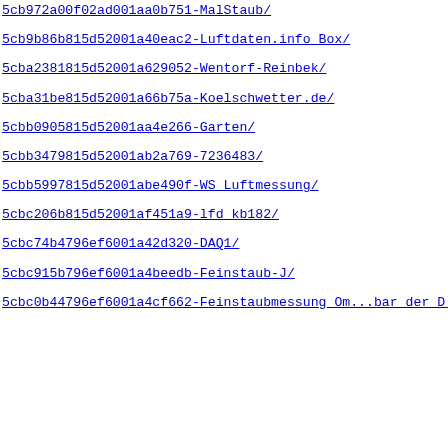5cb972a00f02ad001aa0b751-MalStaub/
5cb9b86b815d52001a40eac2-Luftdaten.info_Box/
5cba2381815d52001a629052-Wentorf-Reinbek/
5cba31be815d52001a66b75a-Koelschwetter.de/
5cbb0905815d52001aa4e266-Garten/
5cbb3479815d52001ab2a769-7236483/
5cbb5997815d52001abe490f-WS_Luftmessung/
5cbc206b815d52001af451a9-lfd_kb182/
5cbc74b4796ef6001a42d320-DAQ1/
5cbc915b796ef6001a4beedb-Feinstaub-J/
5cbc0b44796ef6001a4cf662-Feinstaubmessung_Om...bar_der_D...